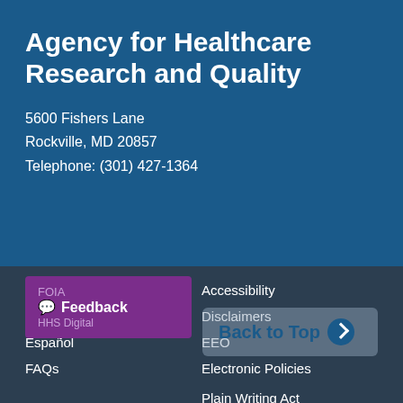Agency for Healthcare Research and Quality
5600 Fishers Lane
Rockville, MD 20857
Telephone: (301) 427-1364
Careers
Accessibility
Contact AHRQ
Disclaimers
Español
EEO
FAQs
Electronic Policies
FOIA
Plain Writing Act
HHS Digital Strategy
Privacy Policy
HHS Nondiscrimination
Viewers & Players